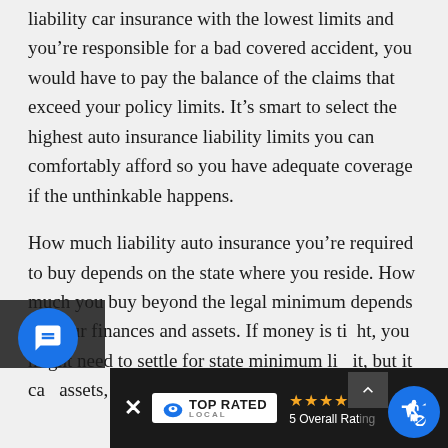liability car insurance with the lowest limits and you're responsible for a bad covered accident, you would have to pay the balance of the claims that exceed your policy limits. It's smart to select the highest auto insurance liability limits you can comfortably afford so you have adequate coverage if the unthinkable happens.
How much liability auto insurance you're required to buy depends on the state where you reside. How much you buy beyond the legal minimum depends on your finances and assets. If money is ti…ou might need to settle for state minimum li…out it ca… assets, you ma…